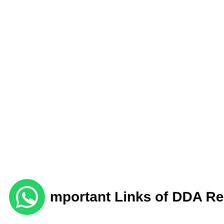[Figure (logo): WhatsApp logo — green circle with white phone/chat handset icon]
Important Links of DDA Recruitment